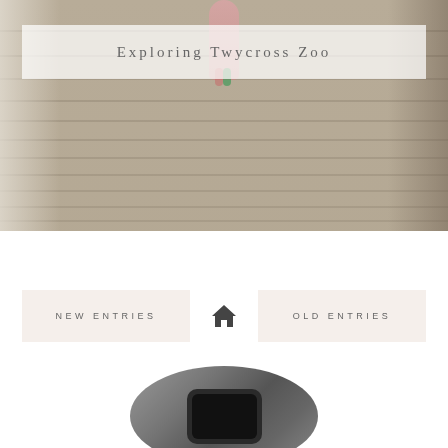[Figure (photo): Child running along a wooden boardwalk at Twycross Zoo, with curtain-like fabric on the left and tree/rock features on right]
Exploring Twycross Zoo
NEW ENTRIES
[Figure (illustration): Home icon (house symbol)]
OLD ENTRIES
[Figure (photo): Partial circular photo at bottom showing a dark rounded object, likely zoo-related]